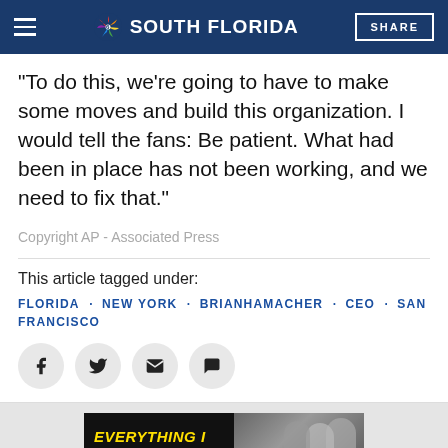NBC 6 SOUTH FLORIDA
"To do this, we're going to have to make some moves and build this organization. I would tell the fans: Be patient. What had been in place has not been working, and we need to fix that."
Copyright AP - Associated Press
This article tagged under:
FLORIDA • NEW YORK • BRIANHAMACHER • CEO • SAN FRANCISCO
[Figure (other): Social sharing icons: Facebook, Twitter, Email, Comment]
[Figure (other): Advertisement banner for Peacock streaming - Everything I Know About Love, Stream Now]